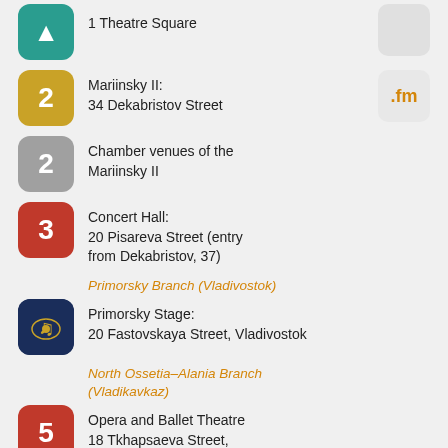1 Theatre Square
Mariinsky II: 34 Dekabristov Street
Chamber venues of the Mariinsky II
Concert Hall: 20 Pisareva Street (entry from Dekabristov, 37)
Primorsky Branch (Vladivostok)
Primorsky Stage: 20 Fastovskaya Street, Vladivostok
North Ossetia–Alania Branch (Vladikavkaz)
Opera and Ballet Theatre 18 Tkhapsaeva Street, Vladikavkaz
Concert Hall 34 Millera Street, Vladikavkaz
Any use or copying of site materials, design elements or layout is forbidden without the permission of the rightholder.